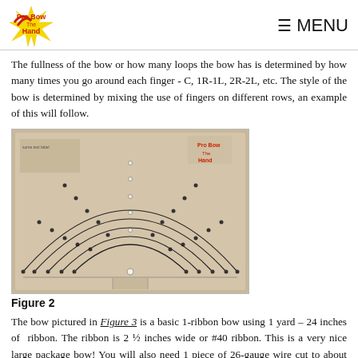Pro Bow The Hand [logo] ☰ MENU
The fullness of the bow or how many loops the bow has is determined by how many times you go around each finger - C, 1R-1L, 2R-2L, etc. The style of the bow is determined by mixing the use of fingers on different rows, an example of this will follow.
[Figure (photo): A brown cardboard bow-making tool (Pro Bow The Hand) showing multiple curved arc rows with pegs/dots, used to wrap ribbon to make bows.]
Figure 2
The bow pictured in Figure 3 is a basic 1-ribbon bow using 1 yard – 24 inches of ribbon. The ribbon is 2 ½ inches wide or #40 ribbon. This is a very nice large package bow! You will also need 1 piece of 26-gauge wire cut to about 18 inches.
[Figure (photo): Bottom partial photo showing a colorful Christmas bow on a gift package with red and green ribbon.]